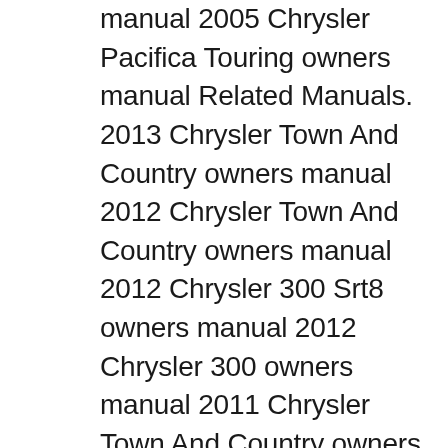manual 2005 Chrysler Pacifica Touring owners manual Related Manuals. 2013 Chrysler Town And Country owners manual 2012 Chrysler Town And Country owners manual 2012 Chrysler 300 Srt8 owners manual 2012 Chrysler 300 owners manual 2011 Chrysler Town And Country owners manual Chrysler 2005 Pacifica Manual . Chrysler vehicle manual. Automobile Chrysler 2005 Pacifica Touring Manual. Chrysler new vehicle instrution manual (376 pages) Automobile Chrysler 2005 Sebring Owner's Manual (291 pages) Automobile Chrysler Sebring 2005 Service Manual. Jr (3204 pages) Automobile Chrysler 2005 Crossfire SRT6 Service Manual (4348 pages)